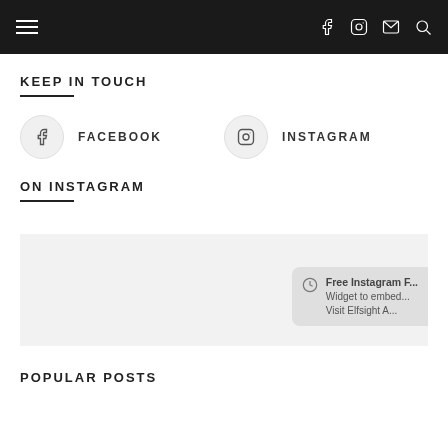Navigation bar with hamburger menu and icons: Facebook, Instagram, email, search
KEEP IN TOUCH
FACEBOOK
INSTAGRAM
ON INSTAGRAM
[Figure (screenshot): Instagram widget area showing a partially visible Elfsight badge: 'Free Instagram F... Widget to embed... Visit Elfsight A...']
POPULAR POSTS